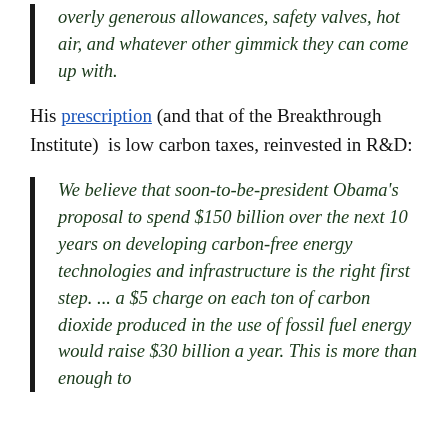overly generous allowances, safety valves, hot air, and whatever other gimmick they can come up with.
His prescription (and that of the Breakthrough Institute) is low carbon taxes, reinvested in R&D:
We believe that soon-to-be-president Obama's proposal to spend $150 billion over the next 10 years on developing carbon-free energy technologies and infrastructure is the right first step. ... a $5 charge on each ton of carbon dioxide produced in the use of fossil fuel energy would raise $30 billion a year. This is more than enough to